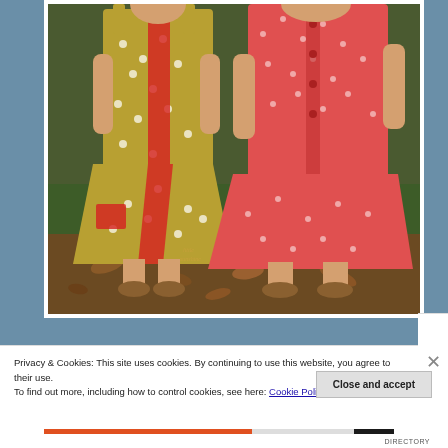[Figure (photo): Two young girls wearing handmade summer dresses standing outdoors. The girl on the left wears an olive/gold dress with white daisy print and red accent fabric. The girl on the right wears a coral/red dotted dress. They are standing on ground covered with fallen leaves and grass. A watermark reading 'little sunshine' appears in the lower portion of the photo.]
Privacy & Cookies: This site uses cookies. By continuing to use this website, you agree to their use.
To find out more, including how to control cookies, see here: Cookie Policy
Close and accept